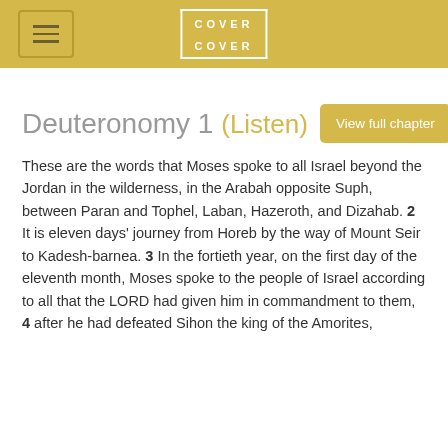COVER COVER
Deuteronomy 1 (Listen)
These are the words that Moses spoke to all Israel beyond the Jordan in the wilderness, in the Arabah opposite Suph, between Paran and Tophel, Laban, Hazeroth, and Dizahab. 2 It is eleven days' journey from Horeb by the way of Mount Seir to Kadesh-barnea. 3 In the fortieth year, on the first day of the eleventh month, Moses spoke to the people of Israel according to all that the LORD had given him in commandment to them, 4 after he had defeated Sihon the king of the Amorites,